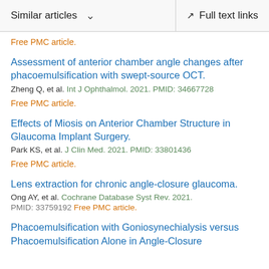Similar articles  ∨    Full text links
Free PMC article.
Assessment of anterior chamber angle changes after phacoemulsification with swept-source OCT.
Zheng Q, et al. Int J Ophthalmol. 2021. PMID: 34667728
Free PMC article.
Effects of Miosis on Anterior Chamber Structure in Glaucoma Implant Surgery.
Park KS, et al. J Clin Med. 2021. PMID: 33801436
Free PMC article.
Lens extraction for chronic angle-closure glaucoma.
Ong AY, et al. Cochrane Database Syst Rev. 2021.
PMID: 33759192 Free PMC article.
Phacoemulsification with Goniosynechialysis versus Phacoemulsification Alone in Angle-Closure